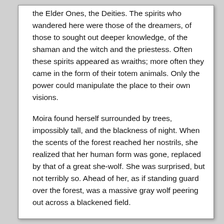the Elder Ones, the Deities. The spirits who wandered here were those of the dreamers, of those to sought out deeper knowledge, of the shaman and the witch and the priestess. Often these spirits appeared as wraiths; more often they came in the form of their totem animals. Only the power could manipulate the place to their own visions.
Moira found herself surrounded by trees, impossibly tall, and the blackness of night. When the scents of the forest reached her nostrils, she realized that her human form was gone, replaced by that of a great she-wolf. She was surprised, but not terribly so. Ahead of her, as if standing guard over the forest, was a massive gray wolf peering out across a blackened field.
Kaballan